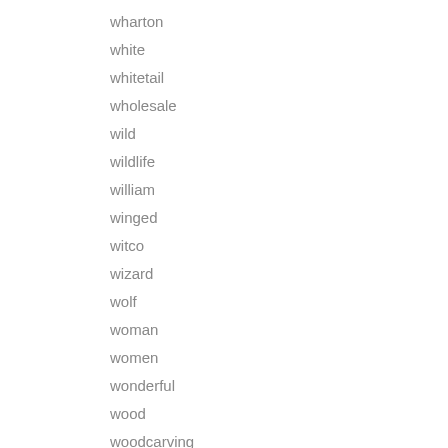wharton
white
whitetail
wholesale
wild
wildlife
william
winged
witco
wizard
wolf
woman
women
wonderful
wood
woodcarving